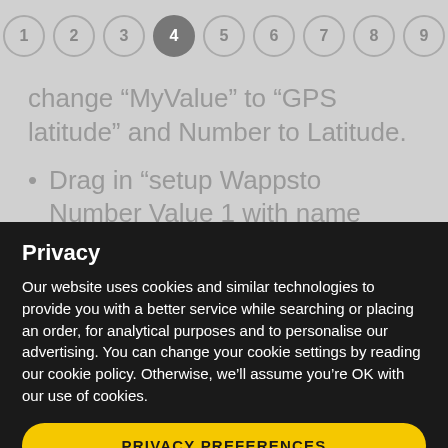[Figure (other): Step indicator showing 9 numbered circles in a row, with circle 4 highlighted/active (dark fill), others outlined in light grey.]
change “MyValue” to “GPS latitude” and Number to Latitude.
Drag in “setup Wappsto Number Value 1 with name “myValue” as Number”, change “1” to “2” and “MyValue” to “GPS
Privacy
Our website uses cookies and similar technologies to provide you with a better service while searching or placing an order, for analytical purposes and to personalise our advertising. You can change your cookie settings by reading our cookie policy. Otherwise, we’ll assume you’re OK with our use of cookies.
PRIVACY PREFERENCES
I AGREE